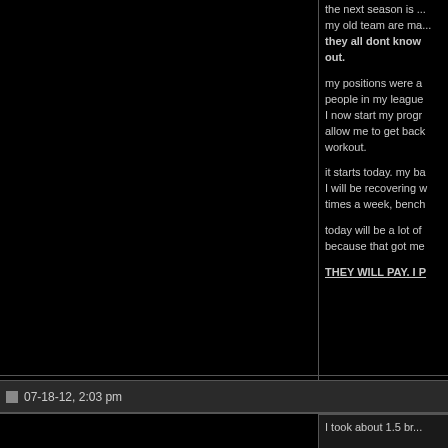the next season is ... my old team are ma... they all dont know out.
my positions were a people in my league I now start my progr allow me to get back workout.
it starts today. my ba I will be recovering w times a week, bench
today will be a lot of because that got me
THEY WILL PAY. I PA
Under the bar: Where
redeem and revenge http://forum.animalpak
07-18-12, 2:03 pm
I took about 1.5 br...